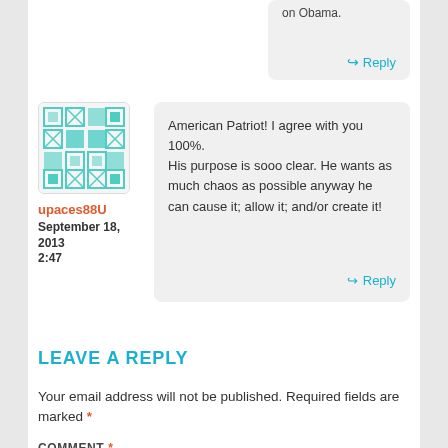on Obama.
Reply
[Figure (illustration): Avatar/gravatar icon with teal geometric pattern on light background]
upaces88U
September 18, 2013 2:47
American Patriot! I agree with you 100%.
His purpose is sooo clear. He wants as much chaos as possible anyway he can cause it; allow it; and/or create it!
Reply
LEAVE A REPLY
Your email address will not be published. Required fields are marked *
COMMENT *